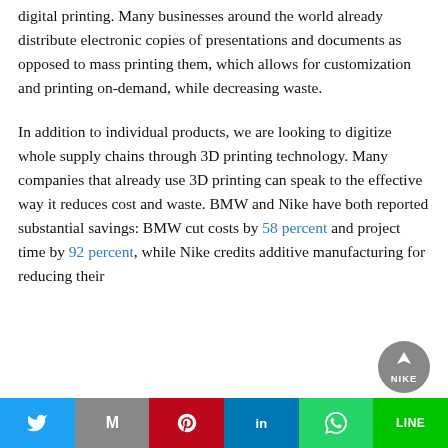digital printing. Many businesses around the world already distribute electronic copies of presentations and documents as opposed to mass printing them, which allows for customization and printing on-demand, while decreasing waste.
In addition to individual products, we are looking to digitize whole supply chains through 3D printing technology. Many companies that already use 3D printing can speak to the effective way it reduces cost and waste. BMW and Nike have both reported substantial savings: BMW cut costs by 58 percent and project time by 92 percent, while Nike credits additive manufacturing for reducing their
Twitter | Gmail | Pinterest | LinkedIn | WhatsApp | Line